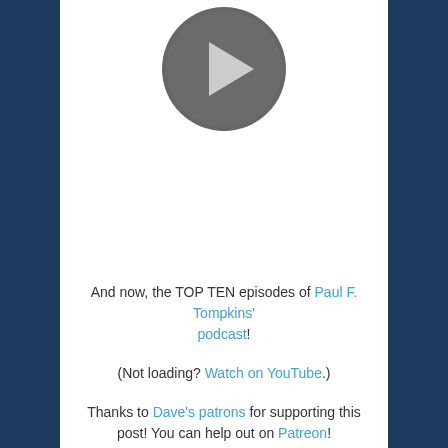[Figure (illustration): A circular play button icon with dark gray background and white triangle/arrow pointing right, partially visible at the top of the content area.]
And now, the TOP TEN episodes of Paul F. Tompkins' podcast!
(Not loading? Watch on YouTube.)
Thanks to Dave's patrons for supporting this post! You can help out on Patreon!